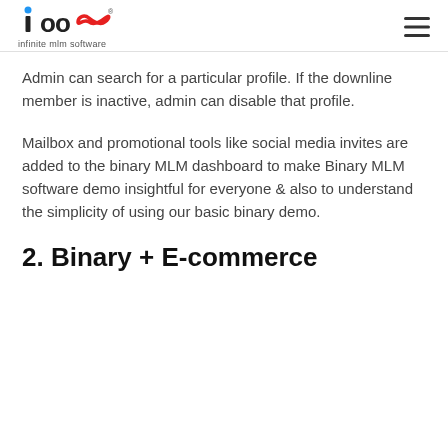ioo∞ infinite mlm software
Admin can search for a particular profile. If the downline member is inactive, admin can disable that profile.
Mailbox and promotional tools like social media invites are added to the binary MLM dashboard to make Binary MLM software demo insightful for everyone & also to understand the simplicity of using our basic binary demo.
2. Binary + E-commerce